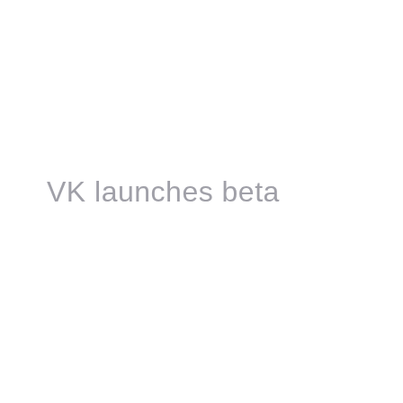VK launches beta
[Figure (logo): Large cyan/turquoise double-chevron or arrow logo partially visible on the right side of the image, cropped at the right and top edges]